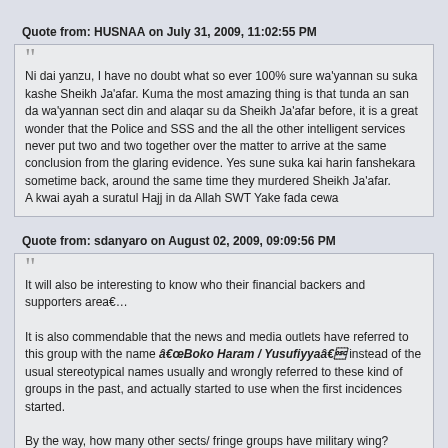Quote from: HUSNAA on July 31, 2009, 11:02:55 PM
Ni dai yanzu, I have no doubt what so ever 100% sure wa'yannan su suka kashe Sheikh Ja'afar. Kuma the most amazing thing is that tunda an san da wa'yannan sect din and alaqar su da Sheikh Ja'afar before, it is a great wonder that the Police and SSS and the all the other intelligent services never put two and two together over the matter to arrive at the same conclusion from the glaring evidence. Yes sune suka kai harin fanshekara sometime back, around the same time they murdered Sheikh Ja'afar.
A kwai ayah a suratul Hajj in da Allah SWT Yake fada cewa
Quote from: sdanyaro on August 02, 2009, 09:09:56 PM
It will also be interesting to know who their financial backers and supporters area€¦

It is also commendable that the news and media outlets have referred to this group with the name â€œBoko Haram / Yusufiyyaâ€ instead of the usual stereotypical names usually and wrongly referred to these kind of groups in the past, and actually started to use when the first incidences started.

By the way, how many other sects/ fringe groups have military wing?
Quote from: Muhsin on August 15, 2009, 12:48:48 PM